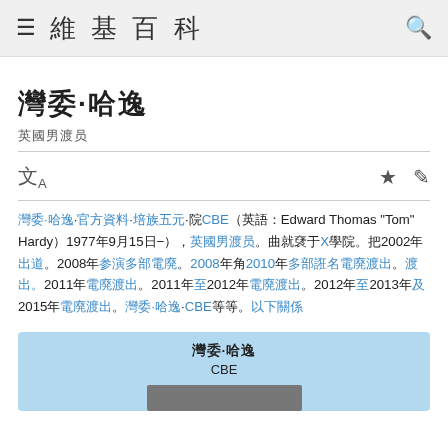維基百科
湯姆·哈迪
英國男演員
湯姆·哈迪·官方資料·CBE（英語：Edward Thomas "Tom" Hardy，1977年9月15日－），英國男演員。曾就讀於X學院。2002年出道。2008年參演多部電影。2008年至2010年多部著名電影演出。2011年電影演出。2011年至2012年電影演出。2012年至2013年及2015年電影演出。湯姆·哈迪·CBE等等。
湯姆·哈迪
CBE